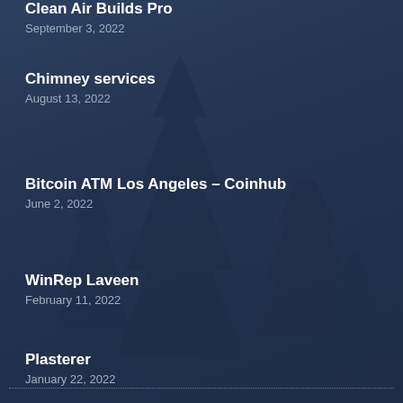Clean Air Builds Pro
September 3, 2022
Chimney services
August 13, 2022
Bitcoin ATM Los Angeles – Coinhub
June 2, 2022
WinRep Laveen
February 11, 2022
Plasterer
January 22, 2022